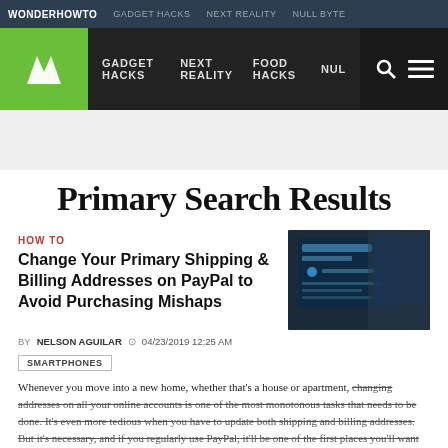WONDERHOWTO  GADGET HACKS  NEXT REALITY  NULL BYTE
[Figure (logo): WonderHowTo logo with green W icon and navigation bar showing GADGET HACKS, NEXT REALITY, FOOD HACKS, NUL with search and menu icons]
Primary Search Results
HOW TO
Change Your Primary Shipping & Billing Addresses on PayPal to Avoid Purchasing Mishaps
[Figure (screenshot): Screenshot of PayPal Manage Addresses page on a mobile device]
BY NELSON AGUILAR   04/23/2019 12:25 AM
SMARTPHONES
Whenever you move into a new home, whether that's a house or apartment, changing addresses on all your online accounts is one of the most monotonous tasks that needs to be done. It's even more tedious when you have to update both shipping and billing addresses. But it's necessary, and if you regularly use PayPal, it'll be one of the first places you'll want to update.